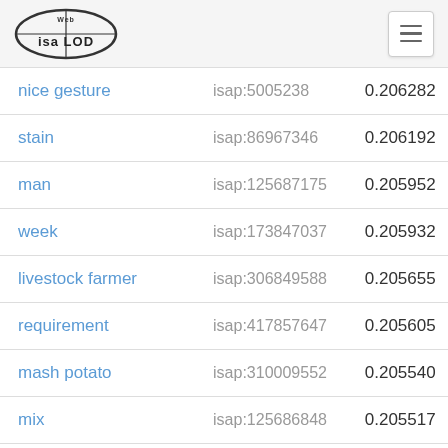Web isa LOD
| nice gesture | isap:5005238 | 0.206282 |
| stain | isap:86967346 | 0.206192 |
| man | isap:125687175 | 0.205952 |
| week | isap:173847037 | 0.205932 |
| livestock farmer | isap:306849588 | 0.205655 |
| requirement | isap:417857647 | 0.205605 |
| mash potato | isap:310009552 | 0.205540 |
| mix | isap:125686848 | 0.205517 |
| probiotic | isap:286269953 | 0.205365 |
| off | isap:125683667 | 0.205362 |
| group | isap:88077040 | 0.205188 |